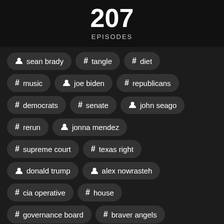207
EPISODES
sean brady
# tangle
# diet
# music
joe biden
# republicans
# democrats
# senate
john seago
# rerun
jonna mendez
# supreme court
# texas right
donald trump
alex nowrasteh
# cia operative
# house
# governance board
# braver angels